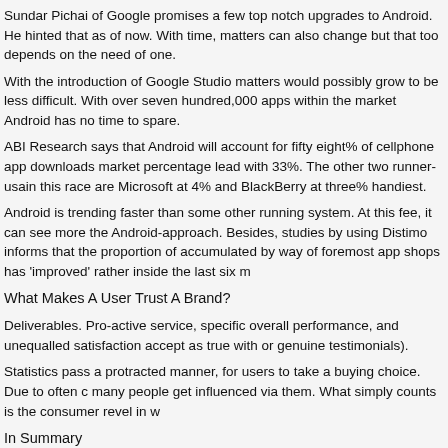Sundar Pichai of Google promises a few top notch upgrades to Android. He hinted that as of now. With time, matters can also change but that too depends on the need of one.
With the introduction of Google Studio matters would possibly grow to be less difficult. With over seven hundred,000 apps within the market Android has no time to spare.
ABI Research says that Android will account for fifty eight% of cellphone app downloads market percentage lead with 33%. The other two runner-usain this race are Microsoft at 4% and BlackBerry at three% handiest.
Android is trending faster than some other running system. At this fee, it can see more the Android-approach. Besides, studies by using Distimo informs that the proportion of accumulated by way of foremost app shops has 'improved' rather inside the last six m
What Makes A User Trust A Brand?
Deliverables. Pro-active service, specific overall performance, and unequalled satisfaction accept as true with or genuine testimonials).
Statistics pass a protracted manner, for users to take a buying choice. Due to often c many people get influenced via them. What simply counts is the consumer revel in w
In Summary
Android has a long road to triumph over. Only if it could efficiently conquer a number able to establish itself as a marketplace chief. With smartphones becoming inevitable appear to meet the huge gap of app downloads per tool as compared with Apple.